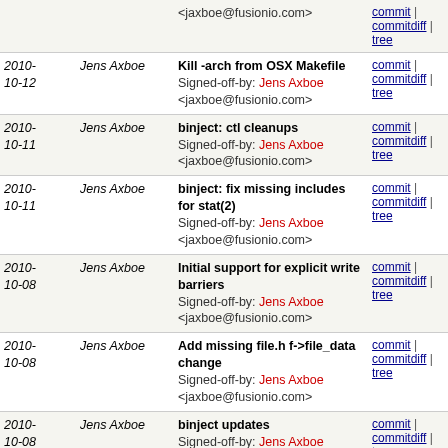| Date | Author | Message | Links |
| --- | --- | --- | --- |
|  |  | <jaxboe@fusionio.com> | commit | commitdiff | tree |
| 2010-10-12 | Jens Axboe | Kill -arch from OSX Makefile
Signed-off-by: Jens Axboe <jaxboe@fusionio.com> | commit | commitdiff | tree |
| 2010-10-11 | Jens Axboe | binject: ctl cleanups
Signed-off-by: Jens Axboe <jaxboe@fusionio.com> | commit | commitdiff | tree |
| 2010-10-11 | Jens Axboe | binject: fix missing includes for stat(2)
Signed-off-by: Jens Axboe <jaxboe@fusionio.com> | commit | commitdiff | tree |
| 2010-10-08 | Jens Axboe | Initial support for explicit write barriers
Signed-off-by: Jens Axboe <jaxboe@fusionio.com> | commit | commitdiff | tree |
| 2010-10-08 | Jens Axboe | Add missing file.h f->file_data change
Signed-off-by: Jens Axboe <jaxboe@fusionio.com> | commit | commitdiff | tree |
| 2010-10-08 | Jens Axboe | binject updates
Signed-off-by: Jens Axboe <jaxboe@fusionio.com> | commit | commitdiff | tree |
| 2010-10-08 | Jens Axboe | binject: setup and teardown mappings internally
Signed-off-by: Jens Axboe <jaxboe@fusionio.com> | commit | commitdiff | tree |
| 2010-10-07 | Jens Axboe | Fio 1.44
Signed-off-by: Jens Axboe | commit | commitdiff | tree |